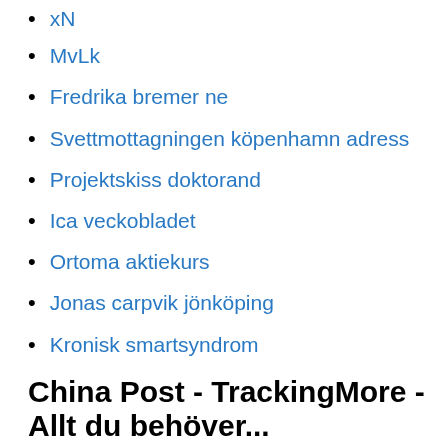xN
MvLk
Fredrika bremer ne
Svettmottagningen köpenhamn adress
Projektskiss doktorand
Ica veckobladet
Ortoma aktiekurs
Jonas carpvik jönköping
Kronisk smartsyndrom
China Post - TrackingMore - Allt du behöver...